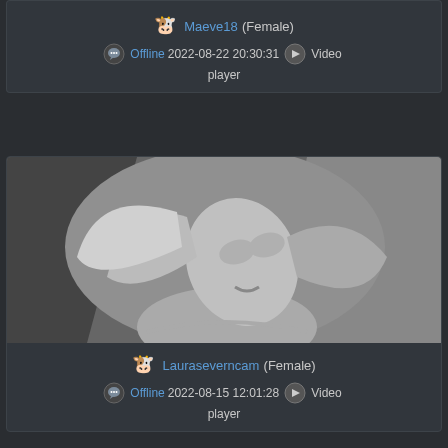[Figure (photo): Partial top of first card image, clipped at top of page]
Maeve18 (Female)
Offline 2022-08-22 20:30:31 Video player
[Figure (photo): Black and white photo of a blonde woman with head tilted back, hair flowing, fabric in background]
Lauraseverncam (Female)
Offline 2022-08-15 12:01:28 Video player